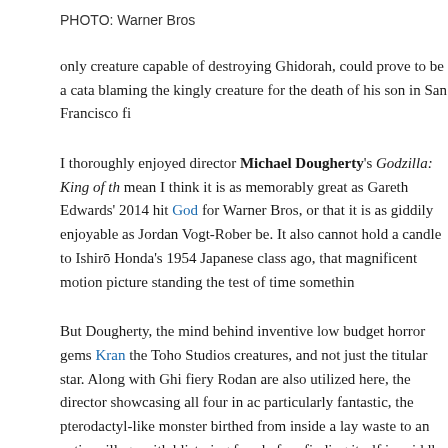PHOTO: Warner Bros
only creature capable of destroying Ghidorah, could prove to be a cata blaming the kingly creature for the death of his son in San Francisco fi
I thoroughly enjoyed director Michael Dougherty's Godzilla: King of th mean I think it is as memorably great as Gareth Edwards' 2014 hit Go for Warner Bros, or that it is as giddily enjoyable as Jordan Vogt-Rober be. It also cannot hold a candle to Ishirō Honda's 1954 Japanese class ago, that magnificent motion picture standing the test of time somethin
But Dougherty, the mind behind inventive low budget horror gems Kran the Toho Studios creatures, and not just the titular star. Along with Ghi fiery Rodan are also utilized here, the director showcasing all four in ac particularly fantastic, the pterodactyl-like monster birthed from inside a lay waste to an entire village with blistering fury before finding itself in middle of the ocean. It's a stunning sequence, one that is delivered in t splendor, the unabashed silliness of their clash juxtaposed with devast creatures that's suitably incredible.
At the same time, the overall impact of the sequence comes from